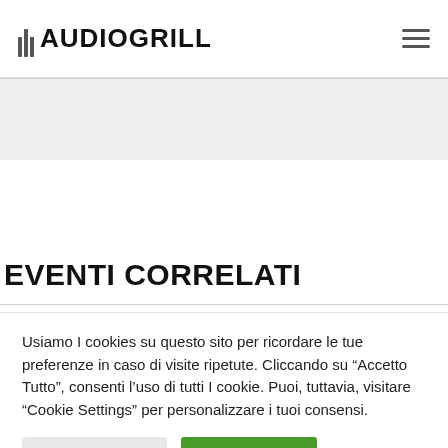AUDIOGRILL
[Figure (photo): Image placeholder area below header navigation]
EVENTI CORRELATI
Usiamo I cookies su questo sito per ricordare le tue preferenze in caso di visite ripetute. Cliccando su “Accetto Tutto”, consenti l’uso di tutti I cookie. Puoi, tuttavia, visitare "Cookie Settings" per personalizzare i tuoi consensi.